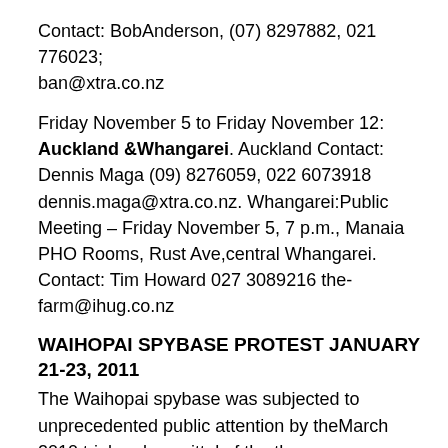Contact: BobAnderson, (07) 8297882, 021 776023; ban@xtra.co.nz
Friday November 5 to Friday November 12: Auckland &Whangarei. Auckland Contact: Dennis Maga (09) 8276059, 022 6073918 dennis.maga@xtra.co.nz. Whangarei:Public Meeting – Friday November 5, 7 p.m., Manaia PHO Rooms, Rust Ave,central Whangarei. Contact: Tim Howard 027 3089216 the-farm@ihug.co.nz
WAIHOPAI SPYBASE PROTEST JANUARY 21-23, 2011
The Waihopai spybase was subjected to unprecedented public attention by theMarch 2010 trial and acquittal of the three Ploughshares peace activists whopenetrated its high security in 2008 and deflated one of the two domesconcealing its satellite dishes from the NZ public. The Anti-Bases Campaign washappy to support this non-violent direct action anti-war activity, from startto finish.